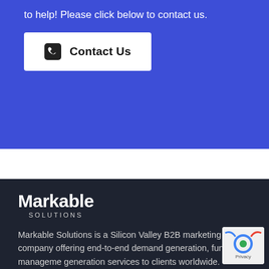to help! Please click below to contact us.
[Figure (other): Contact Us button with phone icon on blue background]
[Figure (logo): Markable Solutions logo in white on dark background]
Markable Solutions is a Silicon Valley B2B marketing company offering end-to-end demand generation, funnel management, generation services to clients worldwide.